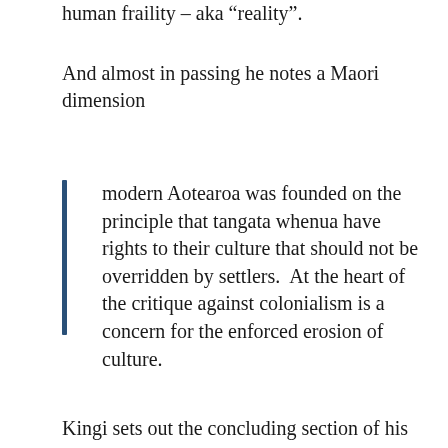human fraility – aka “reality”.
And almost in passing he notes a Maori dimension
modern Aotearoa was founded on the principle that tangata whenua have rights to their culture that should not be overridden by settlers.  At the heart of the critique against colonialism is a concern for the enforced erosion of culture.
Kingi sets out the concluding section of his